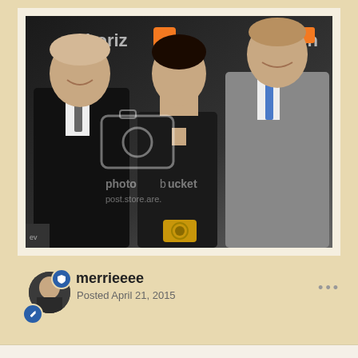[Figure (photo): A photo of three people posing at an event with 'horizon' backdrop/banner. The woman in the center wears a black halter dress with cutout detail. The man on the left wears a black suit, the man on the right wears a grey suit. A Photobucket watermark is overlaid on the image.]
merrieeee
Posted April 21, 2015